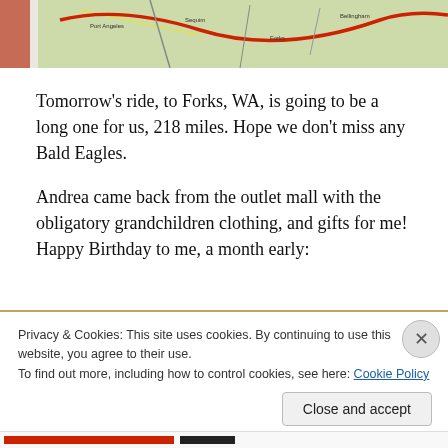[Figure (map): Partial map image showing road map of Washington state area with red route line highlighted, visible at top of page]
Tomorrow's ride, to Forks, WA, is going to be a long one for us, 218 miles. Hope we don't miss any Bald Eagles.
Andrea came back from the outlet mall with the obligatory grandchildren clothing, and gifts for me! Happy Birthday to me, a month early:
Privacy & Cookies: This site uses cookies. By continuing to use this website, you agree to their use.
To find out more, including how to control cookies, see here: Cookie Policy